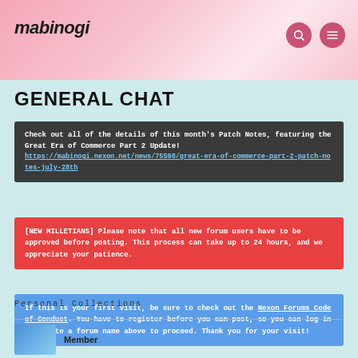mabinogi
GENERAL CHAT
Check out all of the details of this month's Patch Notes, featuring the Great Era of Commerce Part 2 Update! https://mabinogi.nexon.net/news/75598/great-era-of-commerce-part-2-patch-notes-july-28th
[NEW MILLETIANS] Please note that all new forum users have to be approved before posting. This process can take up to 24 hours, and we appreciate your patience.
If this is your first visit, be sure to check out the Nexon Forums Code of Conduct. You have to register before you can post, so you can log in or create a forum name above to proceed. Thank you for your visit!
Personal Collections
Member